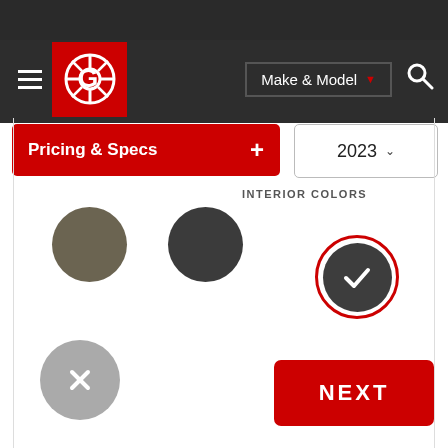[Figure (screenshot): Car specs website UI screenshot showing navigation bar with hamburger menu, logo (C in circle), Make & Model dropdown, search icon, a red Pricing & Specs bar with plus button, a 2023 year dropdown, interior color swatches (taupe circle, dark circle, selected dark circle with red ring and checkmark, gray circle with X), and a red NEXT button.]